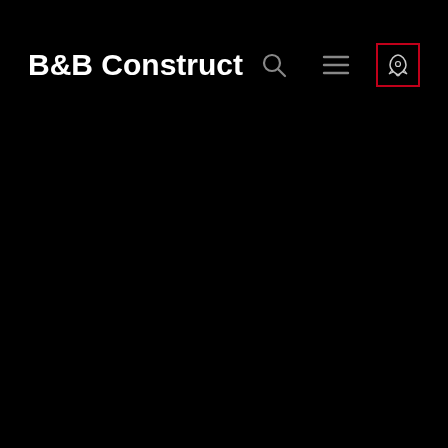B&B Construct
[Figure (screenshot): Website navigation bar on black background with bold white logo text 'B&B Construct' on the left, and three icons on the right: a search (magnifying glass) icon, a hamburger menu icon, and a rocket icon inside a red-bordered box.]